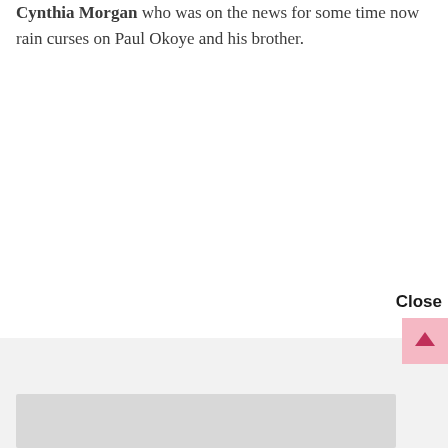Cynthia Morgan who was on the news for some time now rain curses on Paul Okoye and his brother.
Close
ProfitSence.